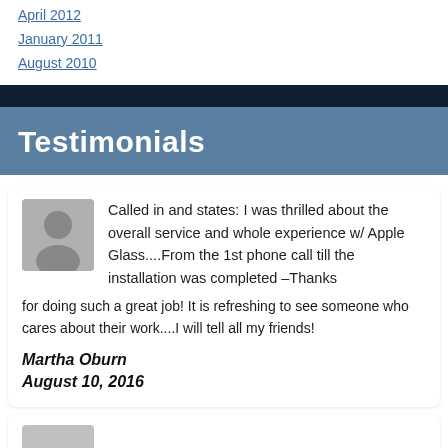April 2012
January 2011
August 2010
Testimonials
Called in and states: I was thrilled about the overall service and whole experience w/ Apple Glass....From the 1st phone call till the installation was completed –Thanks for doing such a great job! It is refreshing to see someone who cares about their work....I will tell all my friends!
Martha Oburn
August 10, 2016